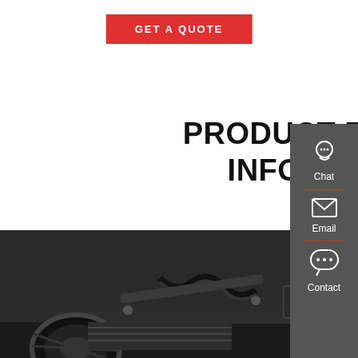GET A QUOTE
PRODUCT RELATED INFORMATION
[Figure (photo): Underside/undercarriage view of a heavy truck or vehicle, showing suspension, axles, hydraulic lines, tires, and structural components photographed from below.]